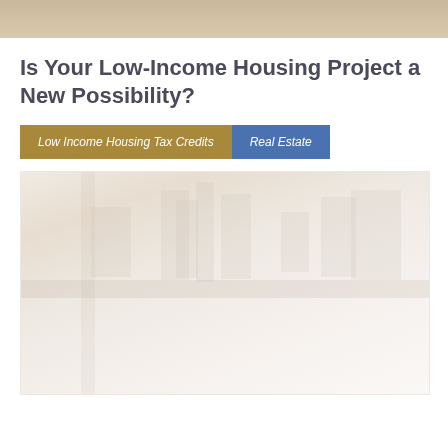[Figure (photo): Top banner photo of a building or housing, muted warm tones]
Is Your Low-Income Housing Project a New Possibility?
Low Income Housing Tax Credits
Real Estate
[Figure (photo): Faint aerial or street-level photo of residential housing/buildings with very light washed-out appearance]